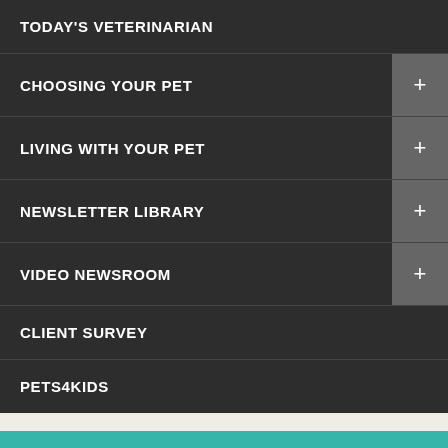TODAY'S VETERINARIAN
CHOOSING YOUR PET
LIVING WITH YOUR PET
NEWSLETTER LIBRARY
VIDEO NEWSROOM
CLIENT SURVEY
PETS4KIDS
LOCATION
Find us on the map
[Figure (map): Street map strip at the bottom of the page]